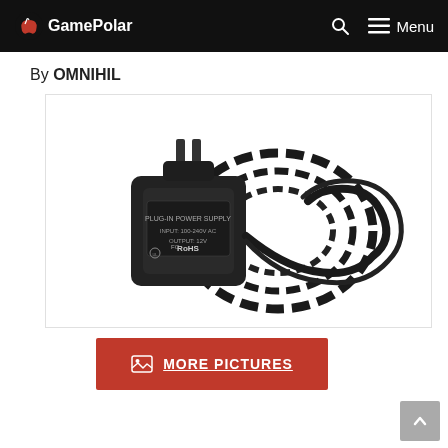GamePolar
By OMNIHIL
[Figure (photo): Black AC power adapter/charger with US plug prongs and coiled black cable, showing RoHS and FCC certifications on the label.]
MORE PICTURES